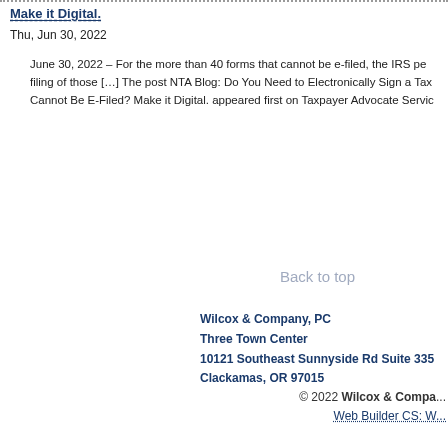Make it Digital.
Thu, Jun 30, 2022
June 30, 2022 – For the more than 40 forms that cannot be e-filed, the IRS pe... filing of those […] The post NTA Blog: Do You Need to Electronically Sign a Tax... Cannot Be E-Filed? Make it Digital. appeared first on Taxpayer Advocate Servic...
Back to top
Wilcox & Company, PC
Three Town Center
10121 Southeast Sunnyside Rd Suite 335
Clackamas, OR 97015
© 2022 Wilcox & Company, PC Web Builder CS: W...